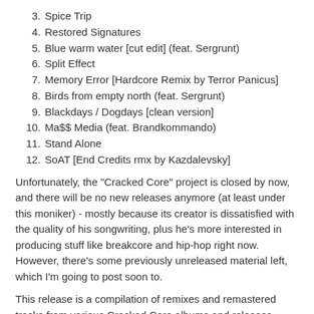3. Spice Trip
4. Restored Signatures
5. Blue warm water [cut edit] (feat. Sergrunt)
6. Split Effect
7. Memory Error [Hardcore Remix by Terror Panicus]
8. Birds from empty north (feat. Sergrunt)
9. Blackdays / Dogdays [clean version]
10. Ma$$ Media (feat. Brandkommando)
11. Stand Alone
12. SoAT [End Credits rmx by Kazdalevsky]
Unfortunately, the "Cracked Core" project is closed by now, and there will be no new releases anymore (at least under this moniker) - mostly because its creator is dissatisfied with the quality of his songwriting, plus he's more interested in producing stuff like breakcore and hip-hop right now. However, there's some previously unreleased material left, which I'm going to post soon to.
This release is a compilation of remixes and remastered tracks from various Cracked Core albums and releases.